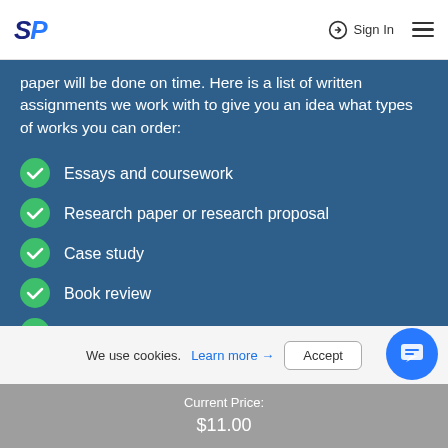SP | Sign In
paper will be done on time. Here is a list of written assignments we work with to give you an idea what types of works you can order:
Essays and coursework
Research paper or research proposal
Case study
Book review
Presentation or report
Term paper
We use cookies. Learn more → Accept
Current Price: $11.00